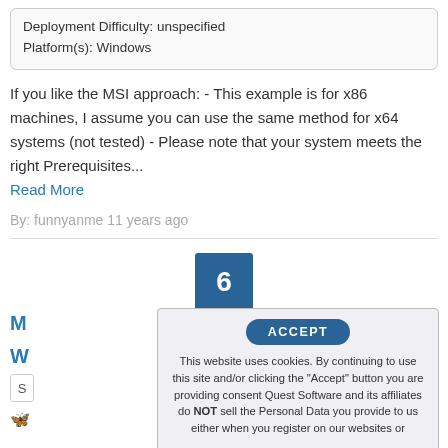Deployment Difficulty: unspecified
Platform(s): Windows
If you like the MSI approach: - This example is for x86 machines, I assume you can use the same method for x64 systems (not tested) - Please note that your system meets the right Prerequisites...
Read More
By: funnyanme 11 years ago
[Figure (infographic): Blue box with number 6 and label ANSWERS below it]
[Figure (screenshot): Cookie consent modal with ACCEPT button and cookie usage text]